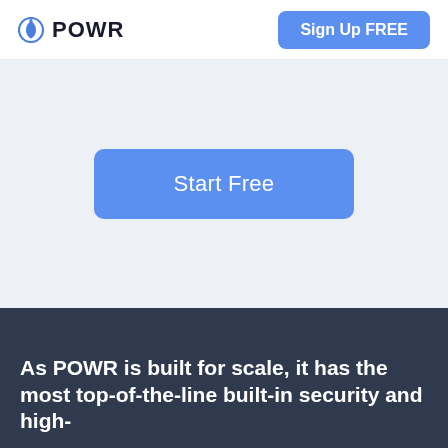[Figure (logo): POWR logo with power/shield icon in blue on the left, and 'Sign Up FREE' blue button on the right in the navigation bar]
[Figure (screenshot): Light grey-blue hero section with a blue rounded 'Start Free' button centered]
As POWR is built for scale, it has the most top-of-the-line built-in security and high-